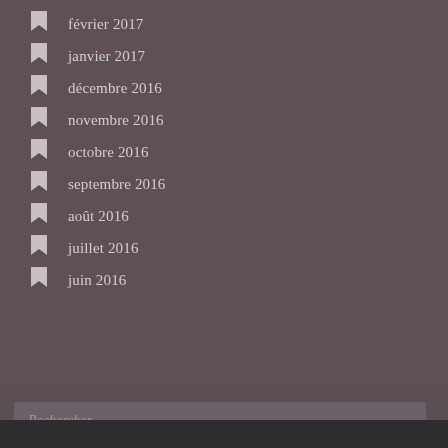février 2017
janvier 2017
décembre 2016
novembre 2016
octobre 2016
septembre 2016
août 2016
juillet 2016
juin 2016
Rechercher…